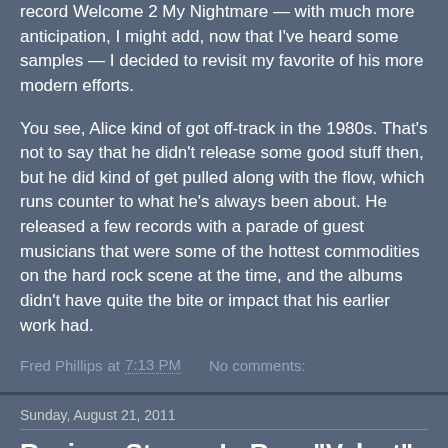record Welcome 2 My Nightmare — with much more anticipation, I might add, now that I've heard some samples — I decided to revisit my favorite of his more modern efforts.
You see, Alice kind of got off-track in the 1980s. That's not to say that he didn't release some good stuff then, but he did kind of get pulled along with the flow, which runs counter to what he's always been about. He released a few records with a parade of guest musicians that were some of the hottest commodities on the hard rock scene at the time, and the albums didn't have quite the bite or impact that his earlier work had.
Fred Phillips at 7:13 PM    No comments:
Sunday, August 21, 2011
Review: Stoney LaRue, "Velvet"
[Figure (photo): Album cover image showing a dark maroon/red rectangular area representing the Stoney LaRue Velvet album cover]